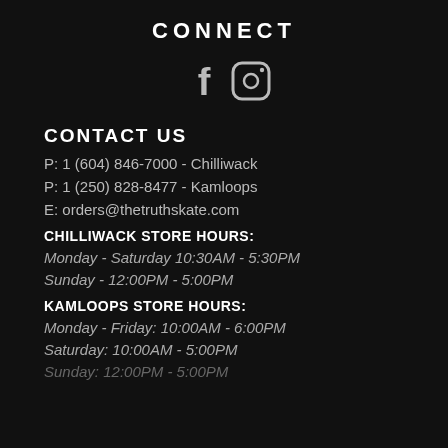CONNECT
[Figure (illustration): Facebook and Instagram social media icons in white/grey on black background]
CONTACT US
P: 1 (604) 846-7000 - Chilliwack
P: 1 (250) 828-8477 - Kamloops
E: orders@thetruthskate.com
CHILLIWACK STORE HOURS:
Monday - Saturday 10:30AM - 5:30PM
Sunday - 12:00PM - 5:00PM
KAMLOOPS STORE HOURS:
Monday - Friday: 10:00AM - 6:00PM
Saturday: 10:00AM - 5:00PM
Sunday: 12:00PM - 5:00PM